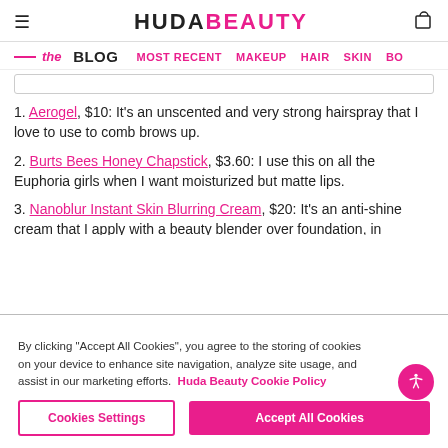HUDA BEAUTY
the BLOG  MOST RECENT  MAKEUP  HAIR  SKIN  BO
1. Aerogel, $10: It's an unscented and very strong hairspray that I love to use to comb brows up.
2. Burts Bees Honey Chapstick, $3.60: I use this on all the Euphoria girls when I want moisturized but matte lips.
3. Nanoblur Instant Skin Blurring Cream, $20: It's an anti-shine cream that I apply with a beauty blender over foundation, in
By clicking “Accept All Cookies”, you agree to the storing of cookies on your device to enhance site navigation, analyze site usage, and assist in our marketing efforts. Huda Beauty Cookie Policy
Cookies Settings  Accept All Cookies